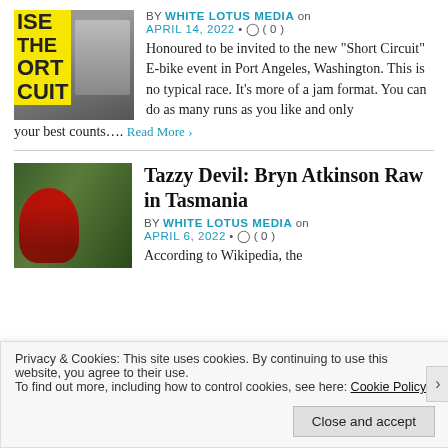[Figure (photo): Thumbnail image showing a BMX biker mid-air with a yellow and black event poster overlay reading 'SE THE ORT CUIT']
BY WHITE LOTUS MEDIA on APRIL 14, 2022 • ( 0 )
Honoured to be invited to the new "Short Circuit" E-bike event in Port Angeles, Washington. This is no typical race. It's more of a jam format. You can do as many runs as you like and only your best counts…. Read More ›
Tazzy Devil: Bryn Atkinson Raw in Tasmania
[Figure (photo): Thumbnail image of a mountain biker riding through a green forest in Tasmania]
BY WHITE LOTUS MEDIA on APRIL 6, 2022 • ( 0 )
According to Wikipedia, the
Privacy & Cookies: This site uses cookies. By continuing to use this website, you agree to their use.
To find out more, including how to control cookies, see here: Cookie Policy
Close and accept